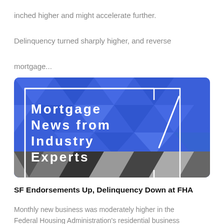inched higher and might accelerate further. Delinquency turned sharply higher, and reverse mortgage...
[Figure (illustration): Blue geometric/polygonal background banner with white text reading 'Mortgage News from Industry Experts' and a white diagonal slash graphic on the right side. Bottom third transitions to dark grey geometric triangles.]
SF Endorsements Up, Delinquency Down at FHA
Monthly new business was moderately higher in the Federal Housing Administration's residential business